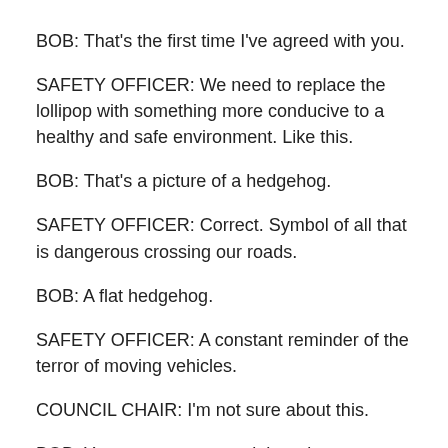BOB: That's the first time I've agreed with you.
SAFETY OFFICER: We need to replace the lollipop with something more conducive to a healthy and safe environment. Like this.
BOB: That's a picture of a hedgehog.
SAFETY OFFICER: Correct. Symbol of all that is dangerous crossing our roads.
BOB: A flat hedgehog.
SAFETY OFFICER: A constant reminder of the terror of moving vehicles.
COUNCIL CHAIR: I'm not sure about this.
BOB: You want me to stand there in a fluorescent mac and